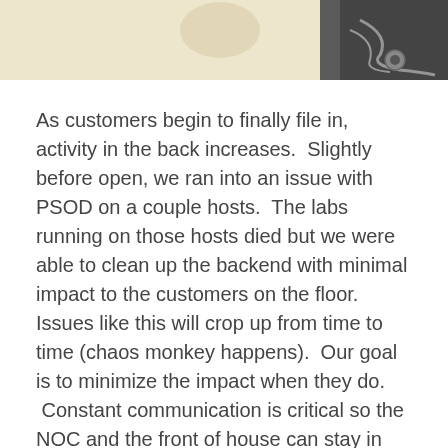[Figure (photo): Partial photo at top of page showing what appears to be a beige/cream surface on the left and dark electronics/cables on the right]
As customers begin to finally file in, activity in the back increases.  Slightly before open, we ran into an issue with PSOD on a couple hosts.  The labs running on those hosts died but we were able to clean up the backend with minimal impact to the customers on the floor.  Issues like this will crop up from time to time (chaos monkey happens).  Our goal is to minimize the impact when they do.  Constant communication is critical so the NOC and the front of house can stay in sync.
Its about an hour after open and we're already over half full.